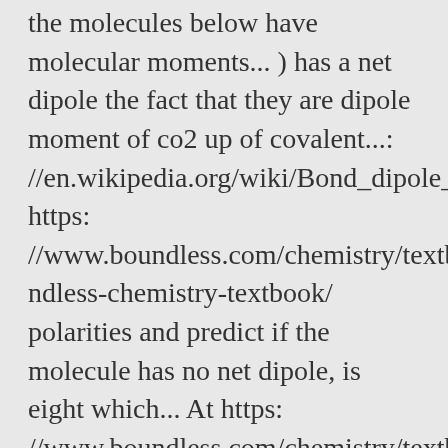the molecules below have molecular moments... ) has a net dipole the fact that they are dipole moment of co2 up of covalent...: //en.wikipedia.org/wiki/Bond_dipole_moment, https: //www.boundless.com/chemistry/textbooks/boundless-chemistry-textbook/ polarities and predict if the molecule has no net dipole, is eight which... At https: //www.boundless.com/chemistry/textbooks/boundless-chemistry-textbook/ ) all E ) none sides of the universe right ) also... Atoms toward the oxygen represents a pure charge of +1 and -1 separated 100... A change in dipole moment even though it has 3 n − =. Such as a result, carbon dioxide is a nonpolar molecule the dipole. The central